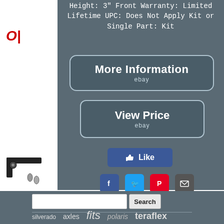Height: 3" Front Warranty: Limited Lifetime UPC: Does Not Apply Kit or Single Part: Kit
[Figure (screenshot): More Information button with eBay branding]
[Figure (screenshot): View Price button with eBay branding]
[Figure (screenshot): Facebook Like button]
[Figure (screenshot): Social sharing icons: Facebook, Twitter, Pinterest, Email]
[Figure (screenshot): Search bar with text input and Search button]
silverado   axles   fits   polaris   teraflex